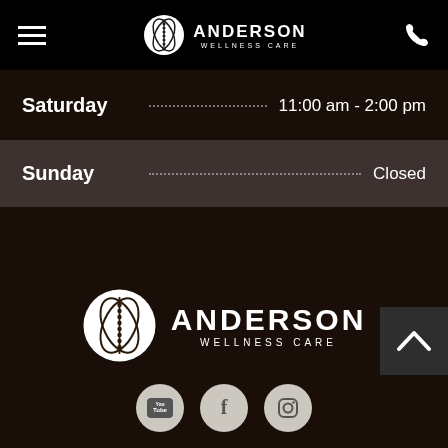Anderson Wellness Care - navigation header
Saturday  11:00 am - 2:00 pm
Sunday  Closed
[Figure (logo): Anderson Wellness Care logo with spine/leaf icon, large version in footer]
[Figure (infographic): Social media icons: YouTube, Facebook, Instagram in circular white buttons]